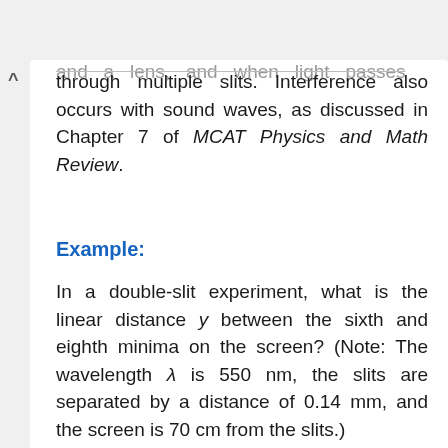and a lens, and when light passes through multiple slits. Interference also occurs with sound waves, as discussed in Chapter 7 of MCAT Physics and Math Review.
Example:
In a double-slit experiment, what is the linear distance y between the sixth and eighth minima on the screen? (Note: The wavelength λ is 550 nm, the slits are separated by a distance of 0.14 mm, and the screen is 70 cm from the slits.)